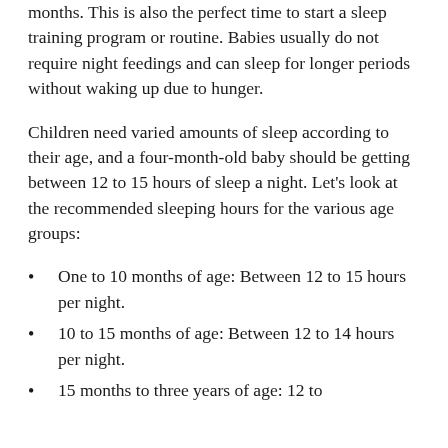months. This is also the perfect time to start a sleep training program or routine. Babies usually do not require night feedings and can sleep for longer periods without waking up due to hunger.
Children need varied amounts of sleep according to their age, and a four-month-old baby should be getting between 12 to 15 hours of sleep a night. Let's look at the recommended sleeping hours for the various age groups:
One to 10 months of age: Between 12 to 15 hours per night.
10 to 15 months of age: Between 12 to 14 hours per night.
15 months to three years of age: 12 to